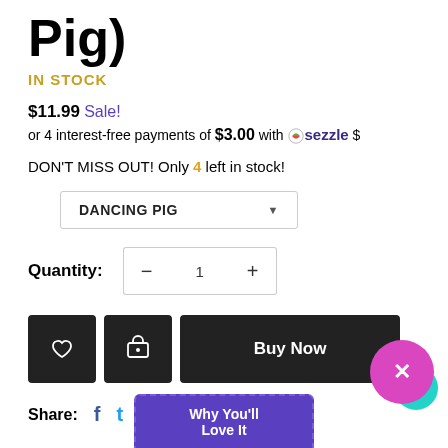Pig)
IN STOCK
$11.99 Sale!
or 4 interest-free payments of $3.00 with Sezzle
DON'T MISS OUT! Only 4 left in stock!
DANCING PIG
Quantity: 1
Buy Now
Share:
Why You'll Love It